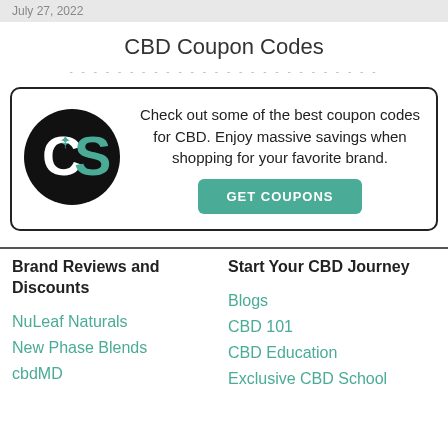July 27, 2022
CBD Coupon Codes
[Figure (logo): CS logo: black circle with white C and green S letters and a cannabis leaf icon]
Check out some of the best coupon codes for CBD. Enjoy massive savings when shopping for your favorite brand.
GET COUPONS
Brand Reviews and Discounts
Start Your CBD Journey
Blogs
NuLeaf Naturals
CBD 101
New Phase Blends
CBD Education
cbdMD
Exclusive CBD School